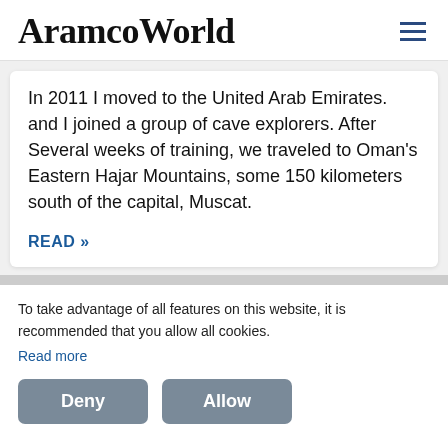AramcoWorld
In 2011 I moved to the United Arab Emirates. and I joined a group of cave explorers. After Several weeks of training, we traveled to Oman's Eastern Hajar Mountains, some 150 kilometers south of the capital, Muscat.
READ »
To take advantage of all features on this website, it is recommended that you allow all cookies.
Read more
[Figure (screenshot): Cookie consent buttons: Deny and Allow]
[Figure (photo): Faint background image visible at the bottom of the page]